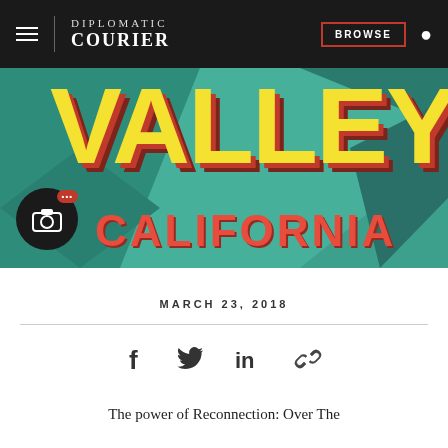DIPLOMATIC COURIER | BROWSE
[Figure (illustration): Retro-style postcard illustration with large text reading 'VALLEY' in yellow with red 3D shadow and 'CALIFORNIA' in red, on a teal geometric background. A camera icon overlay button is visible on the lower-left.]
MARCH 23, 2018
[Figure (other): Social sharing icons: Facebook (f), Twitter bird, LinkedIn (in), and chain link icon]
The power of Reconnection: Over The...